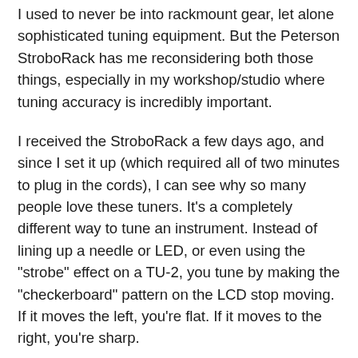I used to never be into rackmount gear, let alone sophisticated tuning equipment. But the Peterson StroboRack has me reconsidering both those things, especially in my workshop/studio where tuning accuracy is incredibly important.
I received the StroboRack a few days ago, and since I set it up (which required all of two minutes to plug in the cords), I can see why so many people love these tuners. It’s a completely different way to tune an instrument. Instead of lining up a needle or LED, or even using the “strobe” effect on a TU-2, you tune by making the “checkerboard” pattern on the LCD stop moving. If it moves the left, you’re flat. If it moves to the right, you’re sharp.
Tuning with one of these things does take a little getting